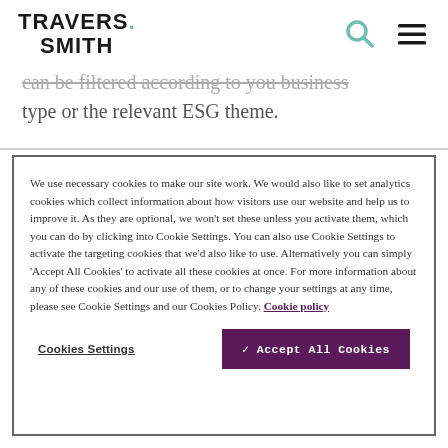TRAVERS. SMITH
can be filtered according to your business type or the relevant ESG theme.
We use necessary cookies to make our site work. We would also like to set analytics cookies which collect information about how visitors use our website and help us to improve it. As they are optional, we won't set these unless you activate them, which you can do by clicking into Cookie Settings. You can also use Cookie Settings to activate the targeting cookies that we'd also like to use. Alternatively you can simply 'Accept All Cookies' to activate all these cookies at once. For more information about any of these cookies and our use of them, or to change your settings at any time, please see Cookie Settings and our Cookies Policy. Cookie policy
Cookies Settings
✓ Accept All Cookies